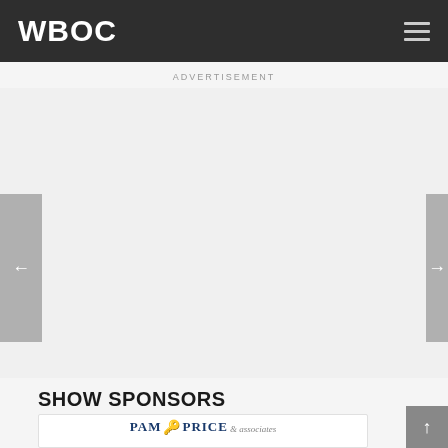WBOC
ADVERTISEMENT
[Figure (other): Advertisement placeholder area with left and right navigation arrows]
SHOW SPONSORS
[Figure (logo): Pam Price & Associates real estate logo with key icon]